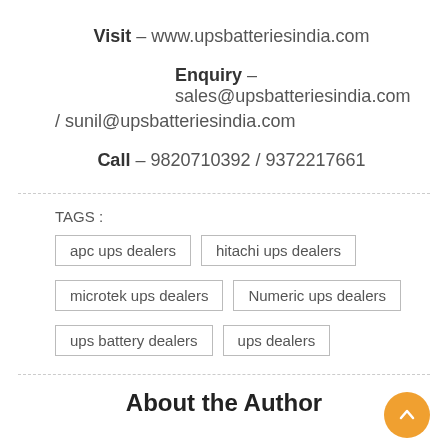Visit – www.upsbatteriesindia.com
Enquiry – sales@upsbatteriesindia.com / sunil@upsbatteriesindia.com
Call – 9820710392 / 9372217661
TAGS :
apc ups dealers
hitachi ups dealers
microtek ups dealers
Numeric ups dealers
ups battery dealers
ups dealers
About the Author